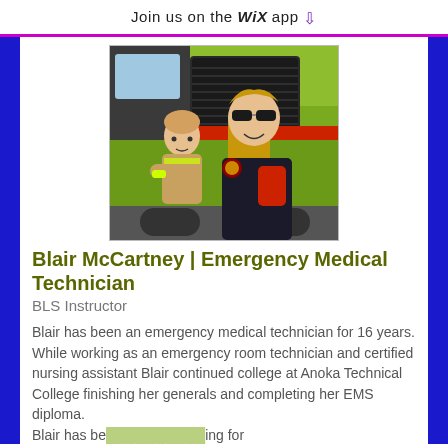Join us on the WiX app ⬇
[Figure (photo): Woman in EMT uniform with sunglasses and a young child sitting in front of a green ambulance/fire vehicle]
Blair McCartney | Emergency Medical Technician
BLS Instructor
Blair has been an emergency medical technician for 16 years. While working as an emergency room technician and certified nursing assistant Blair continued college at Anoka Technical College finishing her generals and completing her EMS diploma. Blair has be... ...ing for